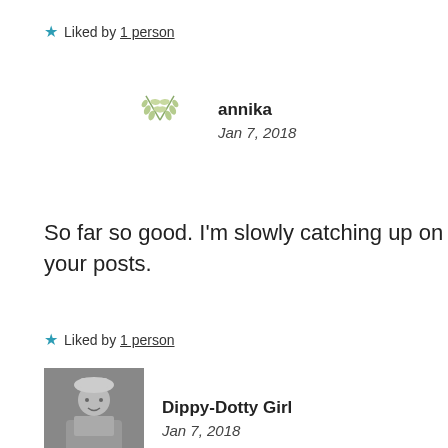★ Liked by 1 person
annika
Jan 7, 2018
So far so good. I'm slowly catching up on your posts.
★ Liked by 1 person
Dippy-Dotty Girl
Jan 7, 2018
Oh thanks! Not to worry. I have been